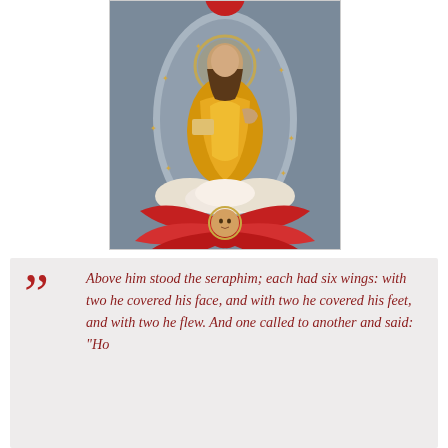[Figure (illustration): Orthodox Christian icon depicting Christ in golden robes seated within a mandorla on clouds, with stars, surrounded by a seraph with red wings below him]
Above him stood the seraphim; each had six wings: with two he covered his face, and with two he covered his feet, and with two he flew. And one called to another and said: "Ho...